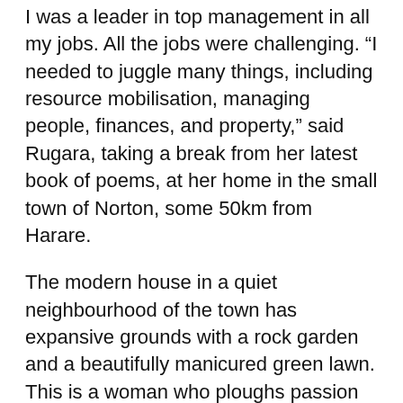I was a leader in top management in all my jobs. All the jobs were challenging. “I needed to juggle many things, including resource mobilisation, managing people, finances, and property,” said Rugara, taking a break from her latest book of poems, at her home in the small town of Norton, some 50km from Harare.
The modern house in a quiet neighbourhood of the town has expansive grounds with a rock garden and a beautifully manicured green lawn. This is a woman who ploughs passion and determination into all she does.
Having turned 70 in January, Rugara shows no sign of slowing down, despite working since she was 19, starting as a nurse in 1971 before advancing to midwifery. During this time, she delivered over 350 babies.